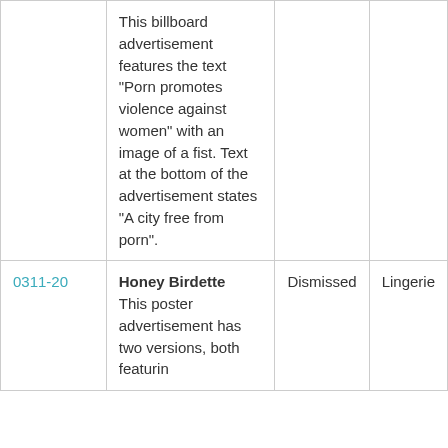| ID | Description | Status | Category |
| --- | --- | --- | --- |
|  | This billboard advertisement features the text "Porn promotes violence against women" with an image of a fist. Text at the bottom of the advertisement states "A city free from porn". |  |  |
| 0311-20 | Honey Birdette
This poster advertisement has two versions, both featuring... | Dismissed | Lingerie |